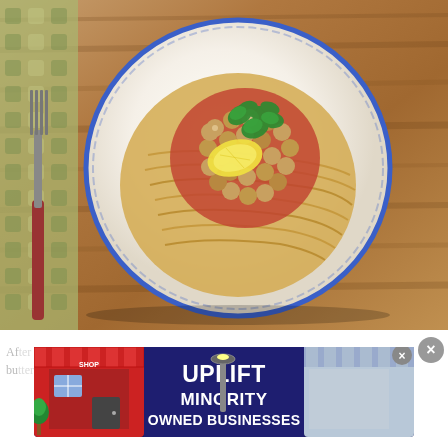[Figure (photo): Overhead view of a white scallop-edged plate with blue rim on a wooden table. The plate contains spaghetti squash strands topped with chickpeas in tomato sauce, a lemon wedge, and fresh cilantro. A patterned green-gold napkin and fork are visible on the left.]
[Figure (infographic): Advertisement banner reading 'UPLIFT MINORITY OWNED BUSINESSES' on a dark blue background with illustrated storefront graphics on both sides. Has a close button (X) in the upper right corner.]